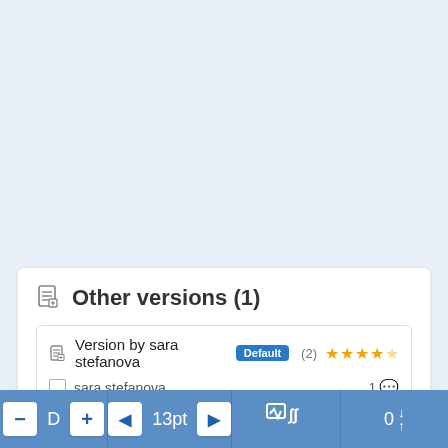Other versions (1)
Version by sara stefanova Default (2) ★★★★☆
sara stefanova  1 💬
A  Bm7  D
[Figure (screenshot): Bottom toolbar with tuner/chord controls: minus button, D label, plus button, left arrow, 13pt, right arrow, checkbox and sigma icon, 0 with down/up arrows]